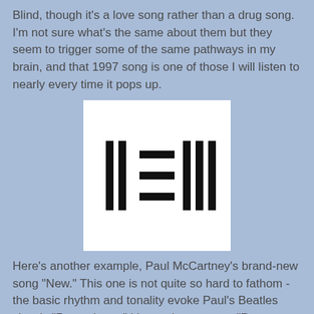Blind, though it's a love song rather than a drug song. I'm not sure what's the same about them but they seem to trigger some of the same pathways in my brain, and that 1997 song is one of those I will listen to nearly every time it pops up.
[Figure (logo): White square containing a stylized logo made of vertical bars and horizontal lines arranged to resemble the number or symbol (resembles a music/media logo with vertical bars on left and right and horizontal lines in the center)]
Here's another example, Paul McCartney's brand-new song "New." This one is not quite so hard to fathom - the basic rhythm and tonality evoke Paul's Beatles classic "Penny Lane." It's not the same as "Penny Lane," but there is definitely something strongly "Beatleish" about this song, even if Paul's 71 year old voice is not quite as smooth as it was in 1967, it's still Paul, and it's still damn good. There are